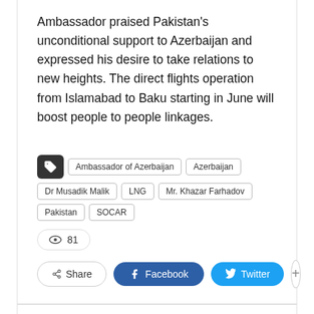Ambassador praised Pakistan's unconditional support to Azerbaijan and expressed his desire to take relations to new heights. The direct flights operation from Islamabad to Baku starting in June will boost people to people linkages.
Tags: Ambassador of Azerbaijan, Azerbaijan, Dr Musadik Malik, LNG, Mr. Khazar Farhadov, Pakistan, SOCAR
81 views
Share | Facebook | Twitter | +
Sohail Minhas